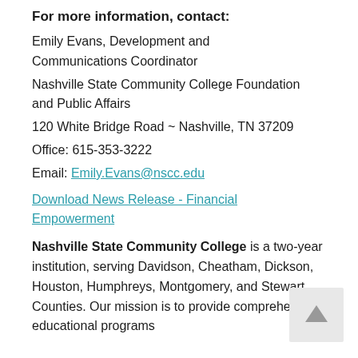For more information, contact:
Emily Evans, Development and Communications Coordinator
Nashville State Community College Foundation and Public Affairs
120 White Bridge Road ~ Nashville, TN 37209
Office: 615-353-3222
Email: Emily.Evans@nscc.edu
Download News Release - Financial Empowerment
Nashville State Community College is a two-year institution, serving Davidson, Cheatham, Dickson, Houston, Humphreys, Montgomery, and Stewart Counties. Our mission is to provide comprehensive educational programs